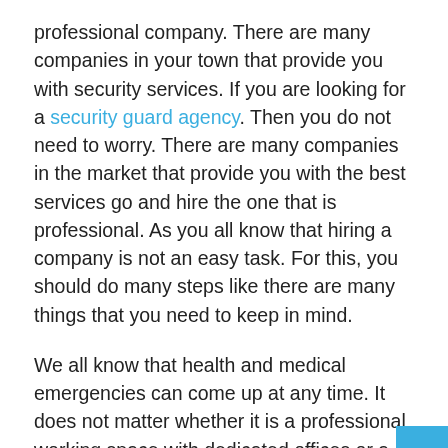professional company. There are many companies in your town that provide you with security services. If you are looking for a security guard agency. Then you do not need to worry. There are many companies in the market that provide you with the best services go and hire the one that is professional. As you all know that hiring a company is not an easy task. For this, you should do many steps like there are many things that you need to keep in mind.
We all know that health and medical emergencies can come up at any time. It does not matter whether it is a professional working space with dedicated offices or a residential apartment with hundreds of flats. Having a security guard that can help in addressing more than just First Aid needs can be the difference between life and death. Heart attacks are one of the most common illnesses that takes millions of lives every year. The best security guard agencies equip their guards